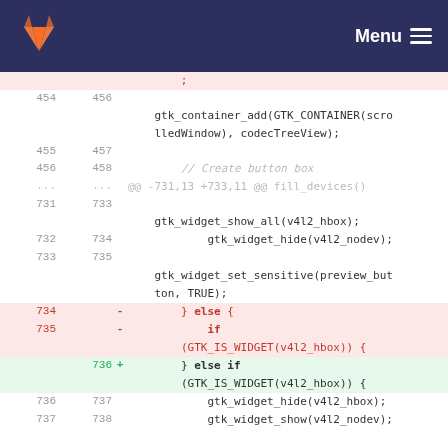GitLab — Menu
[Figure (screenshot): Code diff view showing lines 454-738 of a C source file with additions and deletions highlighted. Deleted lines (734-735) shown in red, added line (736) shown in green.]